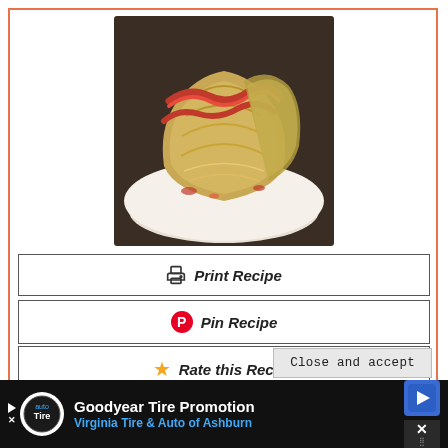[Figure (photo): A white bowl containing roasted cabbage wedges wrapped with bacon, golden and caramelized, viewed from above at an angle.]
Print Recipe
Pin Recipe
Rate this Recipe
Privacy & Cookies: This site uses cookies. By continuing to use this website, you agree to their use. To find out more, including how to control cookies, see here: Privacy Policy
Close and accept
Goodyear Tire Promotion
Virginia Tire & Auto of Ashburn